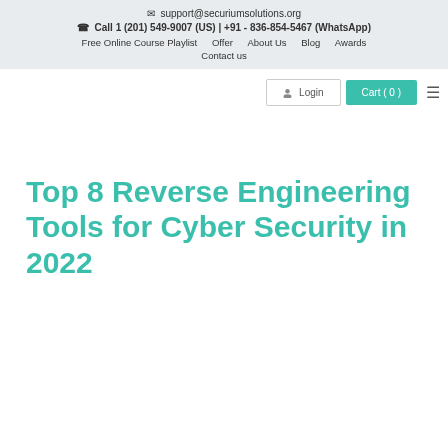support@securiumsolutions.org
Call 1 (201) 549-9007 (US) | +91 - 836-854-5467 (WhatsApp)
Free Online Course Playlist  Offer  About Us  Blog  Awards
Contact us
Login  Cart ( 0 )
Top 8 Reverse Engineering Tools for Cyber Security in 2022